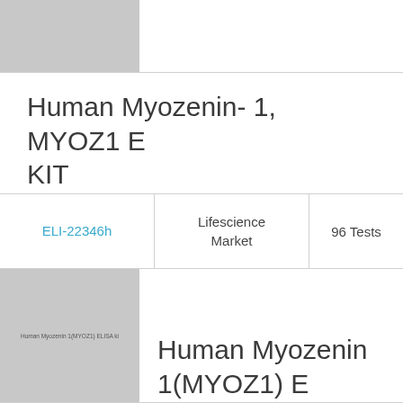[Figure (photo): Gray placeholder image for product thumbnail (top)]
Human Myozenin- 1, MYOZ1 ELISA KIT
| Product ID | Supplier | Quantity |
| --- | --- | --- |
| ELI-22346h | Lifescience Market | 96 Tests |
[Figure (photo): Gray placeholder image for product thumbnail (bottom) with text: Human Myozenin 1(MYOZ1) ELISA kit]
Human Myozenin 1(MYOZ1) ELISA